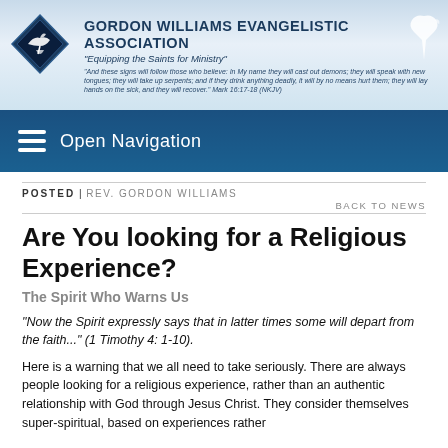[Figure (logo): Gordon Williams Evangelistic Association banner header with diamond logo containing a dove, organization name, tagline 'Equipping the Saints for Ministry', and a scripture verse from Mark 16:17-18 NKJV. A white dove appears on the right side.]
Open Navigation
POSTED | REV. GORDON WILLIAMS
BACK TO NEWS
Are You looking for a Religious Experience?
The Spirit Who Warns Us
"Now the Spirit expressly says that in latter times some will depart from the faith..." (1 Timothy 4: 1-10).
Here is a warning that we all need to take seriously. There are always people looking for a religious experience, rather than an authentic relationship with God through Jesus Christ. They consider themselves super-spiritual, based on experiences rather